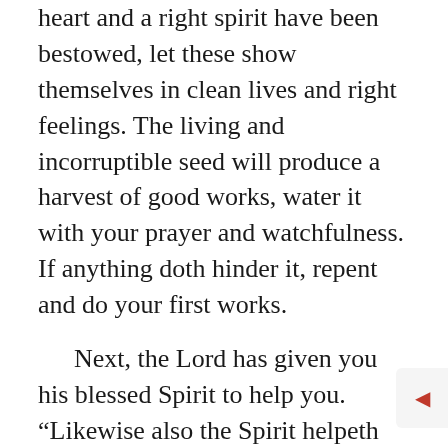heart and a right spirit have been bestowed, let these show themselves in clean lives and right feelings. The living and incorruptible seed will produce a harvest of good works, water it with your prayer and watchfulness. If anything doth hinder it, repent and do your first works.
Next, the Lord has given you his blessed Spirit to help you. “Likewise also the Spirit helpeth our infirmity.” Never forget that. Things impossible with men are possible enough to the Spirit of God. We have the Spirit abiding in us, vitalizing our whole